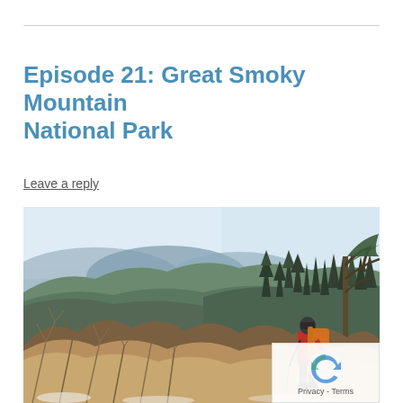Episode 21: Great Smoky Mountain National Park
Leave a reply
[Figure (photo): A hiker with a red jacket and orange backpack stands on a mountain trail in winter at Great Smoky Mountain National Park. Bare shrubs and frost-covered evergreen trees surround the trail. In the background, blue mountain ridges extend under a clear sky. Light snow is visible on the ground.]